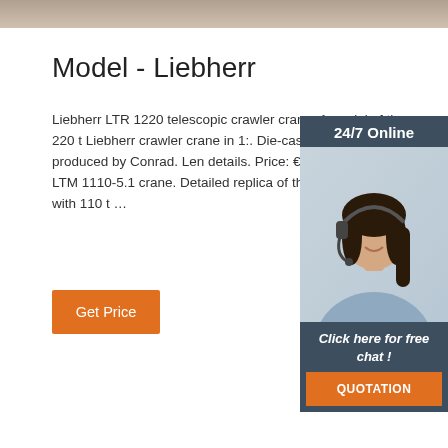[Figure (photo): Top image bar showing a partial background photo]
Model - Liebherr
Liebherr LTR 1220 telescopic crawler crane. A model of the 220 t Liebherr crawler crane in 1:. Die-cast zinc model, produced by Conrad. Len details. Price: €199.00. Liebherr LTM 1110-5.1 crane. Detailed replica of the of the 5-axle mol with 110 t …
Get Price
[Figure (photo): Customer service agent photo with 24/7 Online label, Click here for free chat! text, and QUOTATION button on dark blue-grey panel]